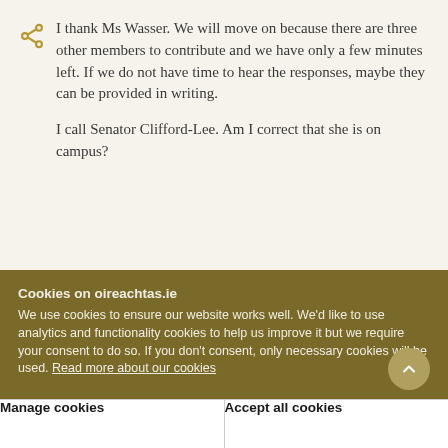I thank Ms Wasser. We will move on because there are three other members to contribute and we have only a few minutes left. If we do not have time to hear the responses, maybe they can be provided in writing.

I call Senator Clifford-Lee. Am I correct that she is on campus?
Cookies on oireachtas.ie
We use cookies to ensure our website works well. We'd like to use analytics and functionality cookies to help us improve it but we require your consent to do so. If you don't consent, only necessary cookies will be used. Read more about our cookies
Manage cookies
Accept all cookies